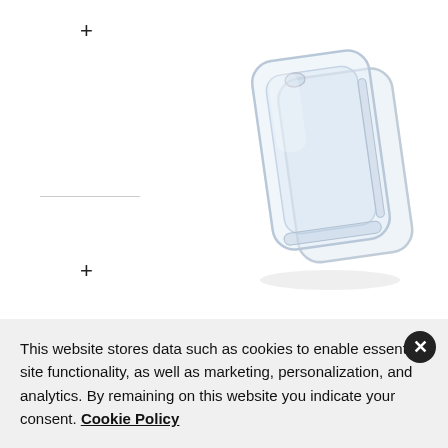[Figure (photo): Clear transparent phone case (Crystal Palace) shown at an angle, displaying both front and back of the case. The case is completely transparent/clear.]
Crystal Palace
Our crystal clear case provides ultimate impact protection.
This website stores data such as cookies to enable essential site functionality, as well as marketing, personalization, and analytics. By remaining on this website you indicate your consent. Cookie Policy